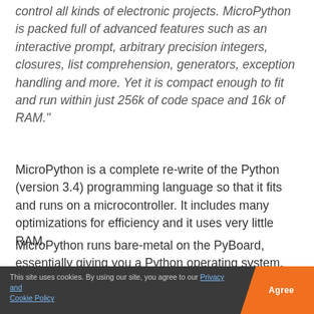control all kinds of electronic projects. MicroPython is packed full of advanced features such as an interactive prompt, arbitrary precision integers, closures, list comprehension, generators, exception handling and more. Yet it is compact enough to fit and run within just 256k of code space and 16k of RAM."
MicroPython is a complete re-write of the Python (version 3.4) programming language so that it fits and runs on a microcontroller. It includes many optimizations for efficiency and it uses very little RAM.
MicroPython runs bare-metal on the PyBoard, essentially giving you a Python operating system. The built-in pyb module contains functions and classes to control the peripherals available on the board, such as UART, I2C, SPI
This site uses cookies. By using our site, you agree to our Privacy and Cookie Policy